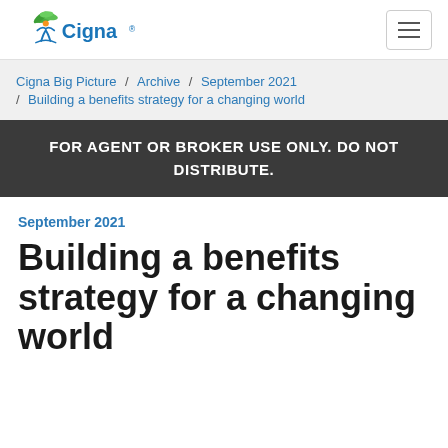Cigna logo and navigation
Cigna Big Picture / Archive / September 2021 / Building a benefits strategy for a changing world
FOR AGENT OR BROKER USE ONLY. DO NOT DISTRIBUTE.
September 2021
Building a benefits strategy for a changing world